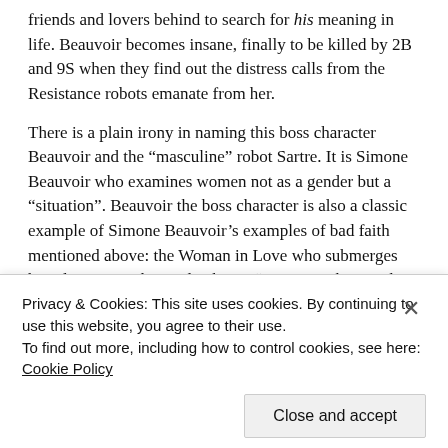friends and lovers behind to search for his meaning in life. Beauvoir becomes insane, finally to be killed by 2B and 9S when they find out the distress calls from the Resistance robots emanate from her.
There is a plain irony in naming this boss character Beauvoir and the “masculine” robot Sartre. It is Simone Beauvoir who examines women not as a gender but a “situation”. Beauvoir the boss character is also a classic example of Simone Beauvoir’s examples of bad faith mentioned above: the Woman in Love who submerges her identity into her male object. “One is not born,” she writes in The Second Sex, “but becomes a woman”. Using Jean-Paul Sartre’s work, she tracks down the history of women with various lenses and establishes that becoming a woman is almost like
Privacy & Cookies: This site uses cookies. By continuing to use this website, you agree to their use.
To find out more, including how to control cookies, see here: Cookie Policy
Close and accept